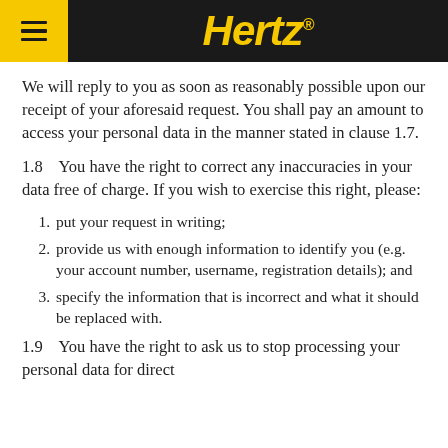Hertz
We will reply to you as soon as reasonably possible upon our receipt of your aforesaid request. You shall pay an amount to access your personal data in the manner stated in clause 1.7.
1.8    You have the right to correct any inaccuracies in your data free of charge. If you wish to exercise this right, please:
put your request in writing;
provide us with enough information to identify you (e.g. your account number, username, registration details); and
specify the information that is incorrect and what it should be replaced with.
1.9    You have the right to ask us to stop processing your personal data for direct